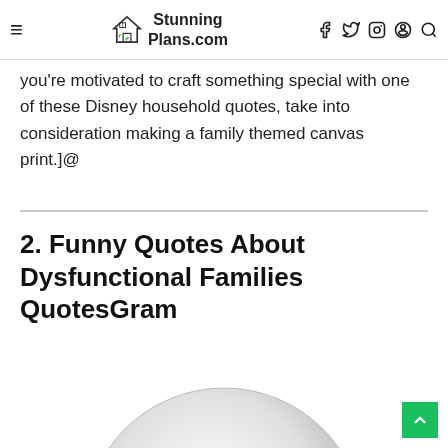StunningPlans.com
you're motivated to craft something special with one of these Disney household quotes, take into consideration making a family themed canvas print.]@
2. Funny Quotes About Dysfunctional Families QuotesGram
[Figure (photo): A round grey button/badge with bold black text reading 'Remember.' visible at the bottom of the image, partially cropped.]